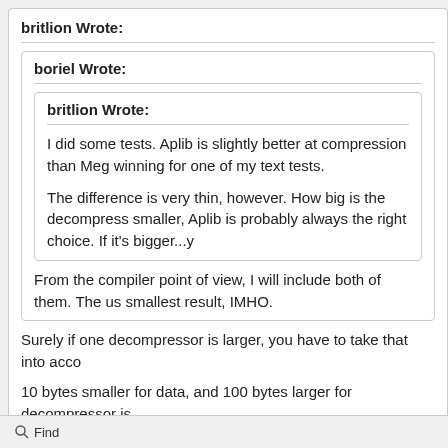britlion Wrote:
boriel Wrote:
britlion Wrote:
I did some tests. Aplib is slightly better at compression than Meg winning for one of my text tests.
The difference is very thin, however. How big is the decompress smaller, Aplib is probably always the right choice. If it's bigger...y
From the compiler point of view, I will include both of them. The us smallest result, IMHO.
Surely if one decompressor is larger, you have to take that into acco
10 bytes smaller for data, and 100 bytes larger for decompressor is
That's right. The programmer must keep this trade-off in mind. But I th